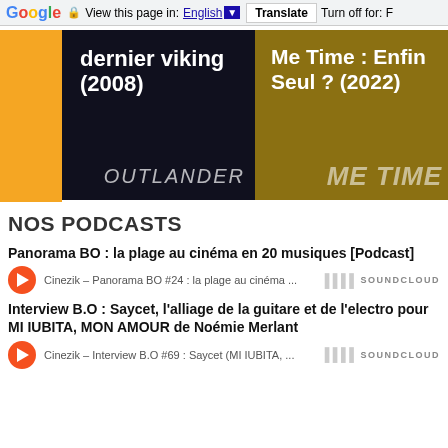Google  View this page in: English [▼] Translate  Turn off for: F
[Figure (screenshot): Two movie thumbnail images: left shows 'dernier viking (2008)' with Outlander background, right shows 'Me Time : Enfin Seul ? (2022)' with Me Time movie background]
NOS PODCASTS
Panorama BO : la plage au cinéma en 20 musiques [Podcast]
Cinezik – Panorama BO #24 : la plage au cinéma ...  SOUNDCLOUD
Interview B.O : Saycet, l'alliage de la guitare et de l'electro pour MI IUBITA, MON AMOUR de Noémie Merlant
Cinezik – Interview B.O #69 : Saycet (MI IUBITA, ...  SOUNDCLOUD